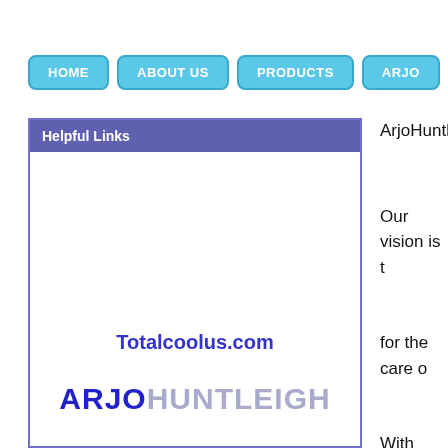HOME | ABOUT US | PRODUCTS | ARJO
Helpful Links
Totalcoolus.com
ARJOHUNTLEIGH
ArjoHuntleigh
Our vision is t
for the care o
With 4,400 ArjoHuntlei turnover of € long-term